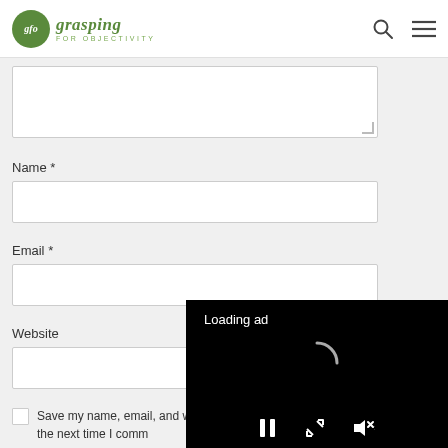[Figure (logo): Grasping for Objectivity blog logo — green circle with 'gfo' text, next to 'grasping FOR OBJECTIVITY' text in green]
Name *
Email *
Website
Save my name, email, and website in this browser for the next time I comm...
[Figure (screenshot): Video ad overlay with black background showing 'Loading ad' text, a spinning loader icon, and playback controls (pause, expand, mute)]